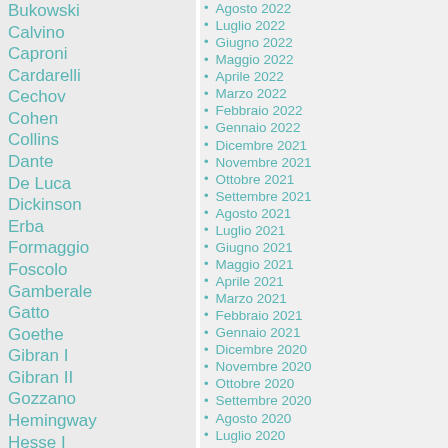Bukowski
Calvino
Caproni
Cardarelli
Cechov
Cohen
Collins
Dante
De Luca
Dickinson
Erba
Formaggio
Foscolo
Gamberale
Gatto
Goethe
Gibran I
Gibran II
Gozzano
Hemingway
Hesse I
Hesse II
Hikmet
Hugo
Jiménez
Keats
Leopardi I
Leopardi II
Lessing
Agosto 2022
Luglio 2022
Giugno 2022
Maggio 2022
Aprile 2022
Marzo 2022
Febbraio 2022
Gennaio 2022
Dicembre 2021
Novembre 2021
Ottobre 2021
Settembre 2021
Agosto 2021
Luglio 2021
Giugno 2021
Maggio 2021
Aprile 2021
Marzo 2021
Febbraio 2021
Gennaio 2021
Dicembre 2020
Novembre 2020
Ottobre 2020
Settembre 2020
Agosto 2020
Luglio 2020
Giugno 2020
Maggio 2020
Aprile 2020
Marzo 2020
Febbraio 2020
Gennaio 2020
Dicembre 2019
Novembre 2019
Ottobre 2019
Settembre 2019
Agosto 2019
Luglio 2019
Giugno 2019
Maggio 2019
Aprile 2019
Marzo 2019